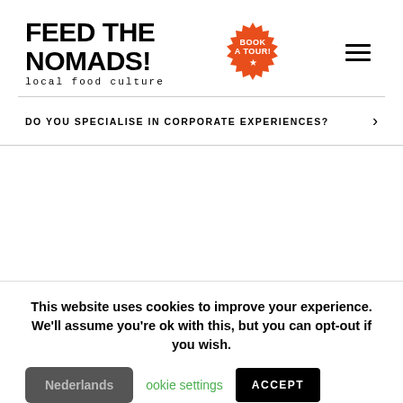FEED THE NOMADS! local food culture
[Figure (logo): Orange circular badge with white text 'BOOK A TOUR!' and a star icon]
DO YOU SPECIALISE IN CORPORATE EXPERIENCES?
This website uses cookies to improve your experience. We'll assume you're ok with this, but you can opt-out if you wish.
Nederlands | cookie settings | ACCEPT